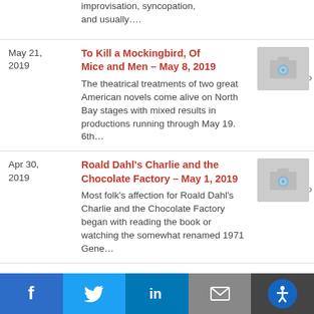improvisation, syncopation, and usually....
May 21, 2019
To Kill a Mockingbird, Of Mice and Men – May 8, 2019
The theatrical treatments of two great American novels come alive on North Bay stages with mixed results in productions running through May 19. 6th...
[Figure (photo): Placeholder thumbnail image (camera icon)]
Apr 30, 2019
Roald Dahl's Charlie and the Chocolate Factory – May 1, 2019
Most folk's affection for Roald Dahl's Charlie and the Chocolate Factory began with reading the book or watching the somewhat renamed 1971 Gene...
[Figure (photo): Placeholder thumbnail image (camera icon)]